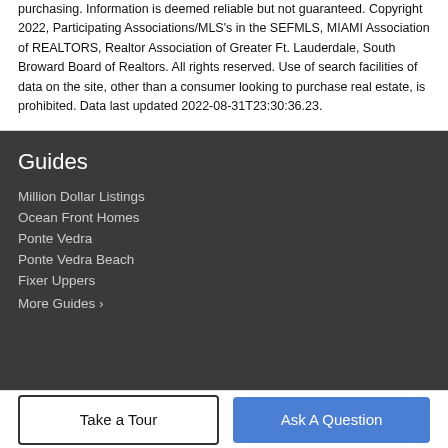purchasing. Information is deemed reliable but not guaranteed. Copyright 2022, Participating Associations/MLS's in the SEFMLS, MIAMI Association of REALTORS, Realtor Association of Greater Ft. Lauderdale, South Broward Board of Realtors. All rights reserved. Use of search facilities of data on the site, other than a consumer looking to purchase real estate, is prohibited. Data last updated 2022-08-31T23:30:36.23.
Guides
Million Dollar Listings
Ocean Front Homes
Ponte Vedra
Ponte Vedra Beach
Fixer Uppers
More Guides ›
Take a Tour | Ask A Question